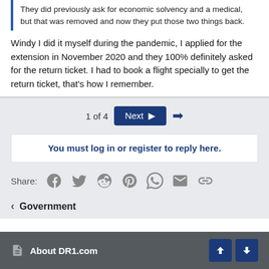They did previously ask for economic solvency and a medical, but that was removed and now they put those two things back.
Windy I did it myself during the pandemic, I applied for the extension in November 2020 and they 100% definitely asked for the return ticket. I had to book a flight specially to get the return ticket, that's how I remember.
1 of 4
Next ▶
You must log in or register to reply here.
Share:
‹ Government
About DR1.com